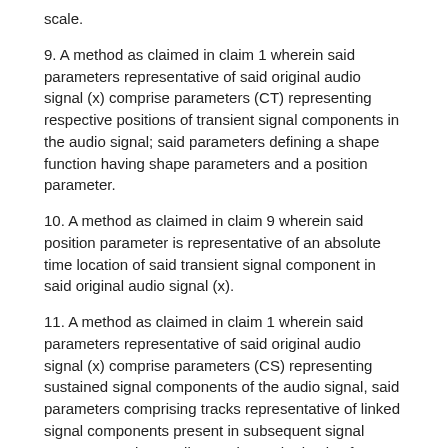scale.
9. A method as claimed in claim 1 wherein said parameters representative of said original audio signal (x) comprise parameters (CT) representing respective positions of transient signal components in the audio signal; said parameters defining a shape function having shape parameters and a position parameter.
10. A method as claimed in claim 9 wherein said position parameter is representative of an absolute time location of said transient signal component in said original audio signal (x).
11. A method as claimed in claim 1 wherein said parameters representative of said original audio signal (x) comprise parameters (CS) representing sustained signal components of the audio signal, said parameters comprising tracks representative of linked signal components present in subsequent signal segments and extending tracks on the basis of parameters of previous linked signal components.
12. A method as claimed in claim 11 wherein the parameters for a first signal component in a track include a parameter representative of an absolute frequency of said signal component.